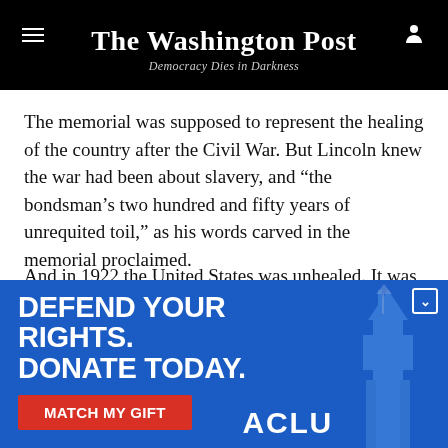The Washington Post — Democracy Dies in Darkness
The memorial was supposed to represent the healing of the country after the Civil War. But Lincoln knew the war had been about slavery, and “the bondsman’s two hundred and fifty years of unrequited toil,” as his words carved in the memorial proclaimed.
And in 1922 the United States was unhealed. It was still harshly segregated and racially oppressive. Fifty-
[Figure (infographic): ACLU advertisement banner with blue background. Large white bold text reads 'DEFEND YOUR RIGHTS. DONATE TODAY.' A red button reads 'MATCH MY GIFT'. ACLU logo in white. Faint Statue of Liberty torch image on right side. Dismiss chevron in top right corner.]